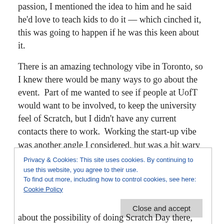passion, I mentioned the idea to him and he said he'd love to teach kids to do it — which cinched it, this was going to happen if he was this keen about it.
There is an amazing technology vibe in Toronto, so I knew there would be many ways to go about the event.  Part of me wanted to see if people at UofT would want to be involved, to keep the university feel of Scratch, but I didn't have any current contacts there to work.  Working the start-up vibe was another angle I considered, but was a bit wary of the sponsorship angles inherent with that culture.
Privacy & Cookies: This site uses cookies. By continuing to use this website, you agree to their use.
To find out more, including how to control cookies, see here: Cookie Policy
about the possibility of doing Scratch Day there, and they